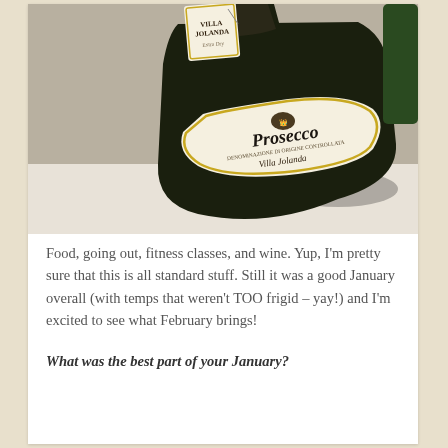[Figure (photo): A bottle of Prosecco Villa Jolanda wine photographed from above at an angle, showing the label with 'PROSECCO' and 'VILLA JOLANDA' text, along with a hanging tag at the top reading 'VILLA JOLANDA'. The bottle is dark green/black and sits on a light surface.]
Food, going out, fitness classes, and wine. Yup, I'm pretty sure that this is all standard stuff. Still it was a good January overall (with temps that weren't TOO frigid – yay!) and I'm excited to see what February brings!
What was the best part of your January?